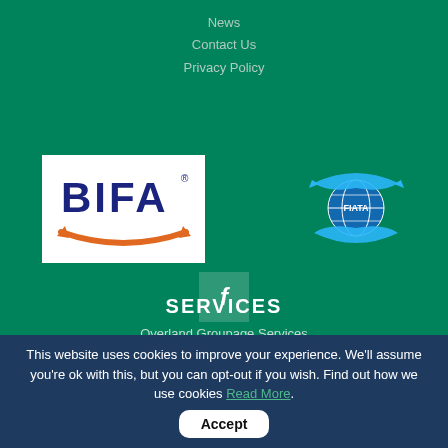News
Contact Us
Privacy Policy
[Figure (logo): BIFA logo — white rectangle with dark navy BIFA text and orange swoosh arrow beneath]
[Figure (logo): FIATA logo — circular globe with blue arrow/wings around it]
[Figure (other): Facebook social media button — semi-transparent square with italic letter f]
SERVICES
Overland Groupage Services
This website uses cookies to improve your experience. We'll assume you're ok with this, but you can opt-out if you wish. Find out how we use cookies Read More. Accept